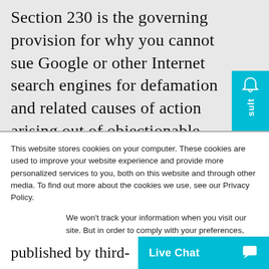Section 230 is the governing provision for why you cannot sue Google or other Internet search engines for defamation and related causes of action arising out of objectionable content available to the entire world to see through a search for your name or your business. Section
This website stores cookies on your computer. These cookies are used to improve your website experience and provide more personalized services to you, both on this website and through other media. To find out more about the cookies we use, see our Privacy Policy.
We won't track your information when you visit our site. But in order to comply with your preferences, we'll have to use just one tiny cookie so that you're not asked to make this choice again.
Accept
Decline
published by third-
Live Chat